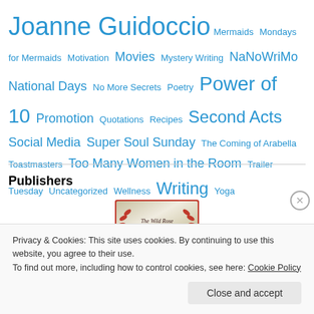Joanne Guidoccio  Mermaids  Mondays for Mermaids  Motivation  Movies  Mystery Writing  NaNoWriMo  National Days  No More Secrets  Poetry  Power of 10  Promotion  Quotations  Recipes  Second Acts  Social Media  Super Soul Sunday  The Coming of Arabella  Toastmasters  Too Many Women in the Room  Trailer Tuesday  Uncategorized  Wellness  Writing  Yoga
Publishers
[Figure (logo): The Wild Rose Press logo — a gold/silver metallic badge with red laurel wreaths on either side and the text 'The Wild Rose Press' in the center, with a red border]
Privacy & Cookies: This site uses cookies. By continuing to use this website, you agree to their use.
To find out more, including how to control cookies, see here: Cookie Policy